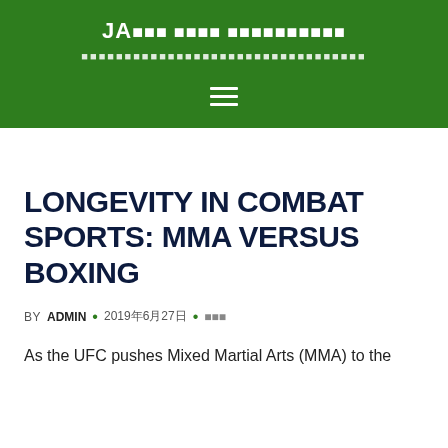JA■■■ ■■■■ ■■■■■■■■■■
LONGEVITY IN COMBAT SPORTS: MMA VERSUS BOXING
BY ADMIN • 2019年6月27日 • ■■■
As the UFC pushes Mixed Martial Arts (MMA) to the